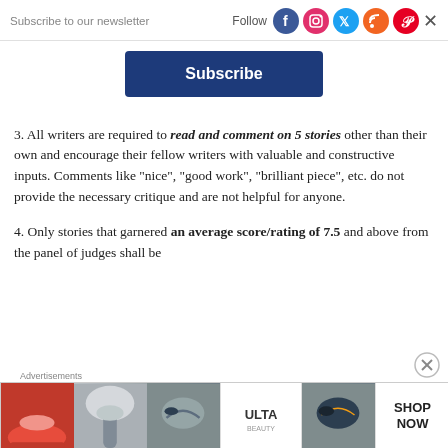Subscribe to our newsletter | Follow [social icons] X
Subscribe
3. All writers are required to read and comment on 5 stories other than their own and encourage their fellow writers with valuable and constructive inputs. Comments like “nice”, “good work”, “brilliant piece”, etc. do not provide the necessary critique and are not helpful for anyone.
4. Only stories that garnered an average score/rating of 7.5 and above from the panel of judges shall be eligible for…
Advertisements
[Figure (photo): Ulta Beauty advertisement banner showing makeup/cosmetics imagery with SHOP NOW call to action]